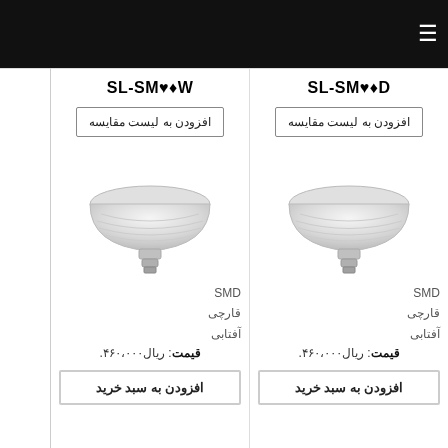≡
SL-SM۵۰W
SL-SM۵۰D
افزودن به لیست مقایسه
افزودن به لیست مقایسه
[Figure (photo): LED UFO flat lamp SL-SM50W]
[Figure (photo): LED UFO flat lamp SL-SM50D]
SMD
قارچی
آفتابی
قیمت: ریال۴۶۰،۰۰۰
SMD
قارچی
آفتابی
قیمت: ریال۴۶۰،۰۰۰
افزودن به سبد خرید
افزودن به سبد خرید